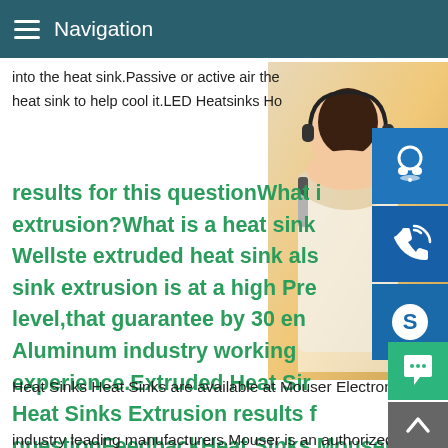Navigation
into the heat sink.Passive or active air the
heat sink to help cool it.LED Heatsinks Ho
results for this questionWhat is a heat sink extrusion?What is a heat sink Wellste extruded heat sink also sink extrusion is at a high Pre level,that guarantee by 30 en Aluminum industry working experience.Extruded Heat Sir Heat Sinks Extrusion results for questionFeedbackHeat Sinks Mouser
[Figure (photo): Woman with headset customer service representative photo on right side]
MANUAL SE
QUOTING O
Email: bsteel1@163.com
Heat Sinks Heat Sinks are available at Mouser Electronics from industry leading manufacturers.Mouser is an authorized distrib for many heat sink manufacturers including Aavid Thermalloy,Advanced Thermal Solutions,CTS,Ohmite,Sensata Connectivity,Wakefield-Vette more.Please view our large selec